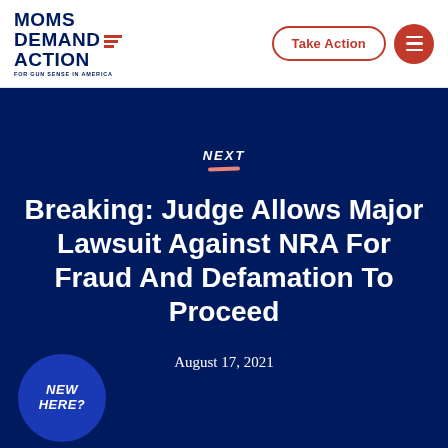[Figure (logo): Moms Demand Action for Gun Sense in America logo with red stripes and dark blue text]
Take Action
NEXT
Breaking: Judge Allows Major Lawsuit Against NRA For Fraud And Defamation To Proceed
August 17, 2021
NEW HERE?